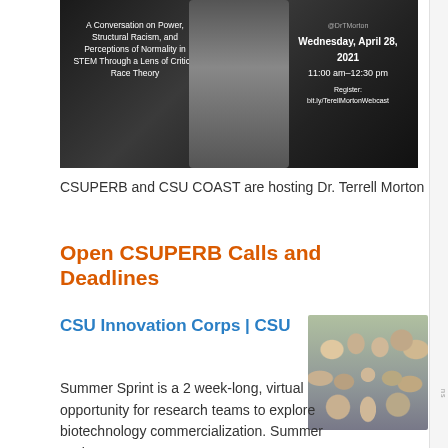[Figure (photo): Event banner for a webcast featuring Dr. Terrell Morton on a dark background, with text about 'A Conversation on Power, Structural Racism, and Perceptions of Normality in STEM Through a Lens of Critical Race Theory' on the left, date/time info Wednesday April 28 2021 11:00am-12:30pm and registration link bit.ly/TerellMortonWebcast on the right, and a photo of Dr. Morton in the center.]
CSUPERB and CSU COAST are hosting Dr. Terrell Morton
Open CSUPERB Calls and Deadlines
CSU Innovation Corps | CSU
[Figure (photo): Group photo of approximately 13 people posing together outdoors, likely a research team.]
Summer Sprint is a 2 week-long, virtual opportunity for research teams to explore biotechnology commercialization. Summer Sprint